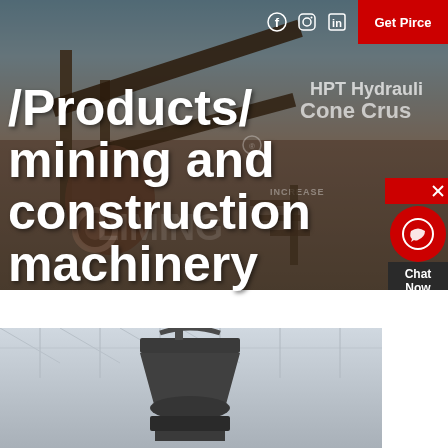[Figure (photo): Hero banner showing industrial mining/construction site with heavy machinery, conveyor belts, and crushers. Background of mountainous landscape. Watermark 'LIMING' visible.]
Get Pirce
/Products/ mining and construction machinery
[Figure (photo): Bottom photo showing industrial machinery (cone crusher or similar) inside a factory/warehouse with steel roof structure visible.]